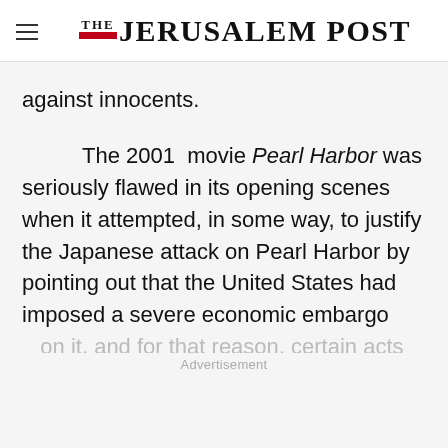THE JERUSALEM POST
against innocents.
The 2001 movie Pearl Harbor was seriously flawed in its opening scenes when it attempted, in some way, to justify the Japanese attack on Pearl Harbor by pointing out that the United States had imposed a severe economic embargo
Advertisement